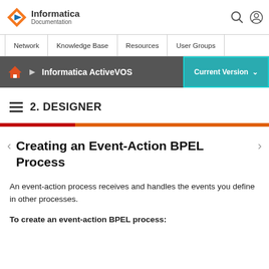Informatica Documentation
Network | Knowledge Base | Resources | User Groups
Informatica ActiveVOS  Current Version
2. DESIGNER
Creating an Event-Action BPEL Process
An event-action process receives and handles the events you define in other processes.
To create an event-action BPEL process: